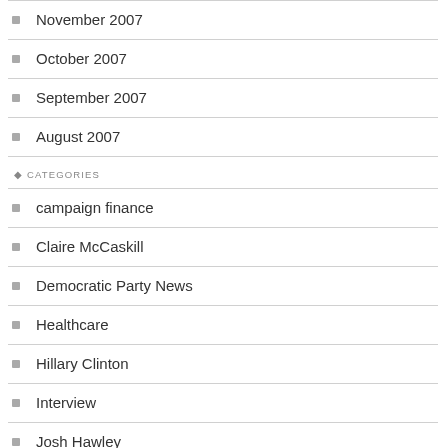November 2007
October 2007
September 2007
August 2007
CATEGORIES
campaign finance
Claire McCaskill
Democratic Party News
Healthcare
Hillary Clinton
Interview
Josh Hawley
media criticism
meta
Missouri General Assembly